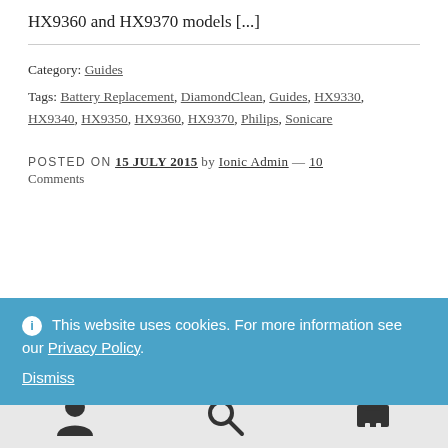HX9360 and HX9370 models [...]
Category: Guides
Tags: Battery Replacement, DiamondClean, Guides, HX9330, HX9340, HX9350, HX9360, HX9370, Philips, Sonicare
POSTED ON 15 JULY 2015 by Ionic Admin — 10 Comments
This website uses cookies. For more information see our Privacy Policy. Dismiss